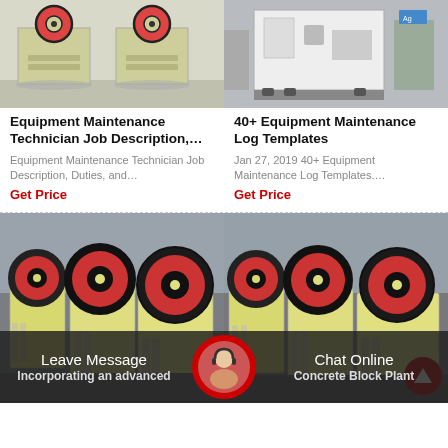[Figure (photo): Yellow industrial jaw crusher machine in a factory setting, front view]
[Figure (photo): Large white industrial machine/equipment in a warehouse setting]
Equipment Maintenance Technician Job Description,…
Equipment Maintenance Technician Job Description, Duties, and…
Get Price
40+ Equipment Maintenance Log Templates
Jan 27, 2019 40+ Equipment Maintenance Log Templates….
Get Price
[Figure (photo): Row of yellow jaw crusher machines with large black and red flywheels in industrial warehouse]
[Figure (photo): Row of yellow jaw crusher machines with large black and red flywheels in industrial warehouse, similar to left image]
Leave Message
Incorporating an advanced
Chat Online
Concrete Block Plant